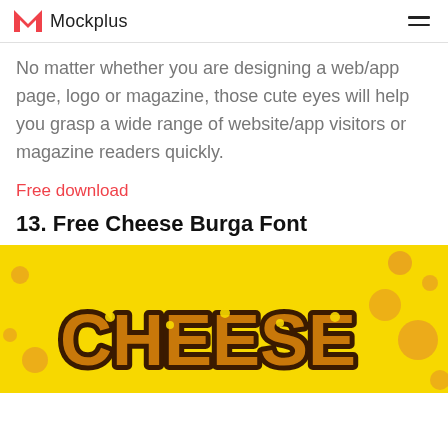Mockplus
No matter whether you are designing a web/app page, logo or magazine, those cute eyes will help you grasp a wide range of website/app visitors or magazine readers quickly.
Free download
13. Free Cheese Burga Font
[Figure (photo): Yellow background with cheese-burger styled decorative font showing 'CHEESE' text in dark brown bubbly letters with orange circle decorations]